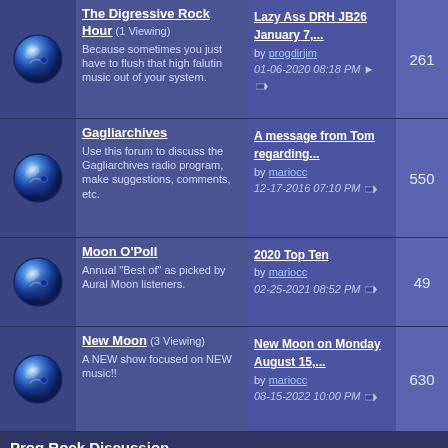The Digressive Rock Hour (1 Viewing) — Because sometimes you just have to flush that high falutin music out of your system. Last post: Lazy Ass DRH JB26 January 7,... by progdirjim 01-06-2020 08:18 PM. Posts: 261
Gagliarchives — Use this forum to discuss the Gagliarchives radio program, make suggestions, comments, etc. Last post: A message from Tom regarding... by mariocc 12-17-2016 07:10 PM. Posts: 550
Moon O'Poll — Annual 'Best of' as picked by Aural Moon listeners. Last post: 2020 Top Ten by mariocc 02-25-2021 08:52 PM. Posts: 49
New Moon (3 Viewing) — A NEW show focused on NEW music!! Last post: New Moon on Monday August 15,... by mariocc 08-15-2022 10:00 PM. Posts: 630
Prog Rock Discussion
Music Suggestions (1 Viewing) — What music would you like to hear on AM? Last post: Silent Mars - Lakveet, Scab by mariocc 09-20-2021 09:47 AM. Posts: 682